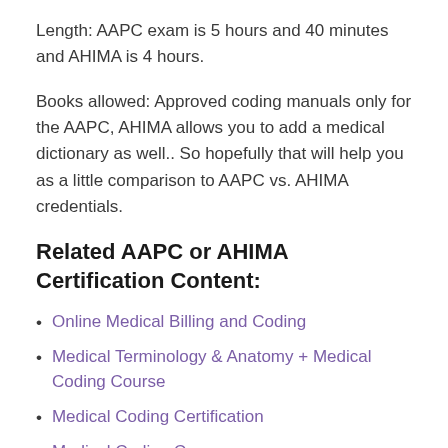Length: AAPC exam is 5 hours and 40 minutes and AHIMA is 4 hours.
Books allowed: Approved coding manuals only for the AAPC, AHIMA allows you to add a medical dictionary as well.. So hopefully that will help you as a little comparison to AAPC vs. AHIMA credentials.
Related AAPC or AHIMA Certification Content:
Online Medical Billing and Coding
Medical Terminology & Anatomy + Medical Coding Course
Medical Coding Certification
Medical Coding Careers